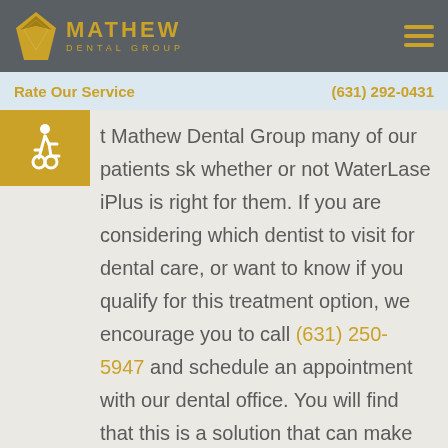MATHEW DENTAL GROUP
Rate Our Service    (631) 292-0431
At Mathew Dental Group many of our patients ask whether or not WaterLase iPlus is right for them. If you are considering which dentist to visit for dental care, or want to know if you qualify for this treatment option, we encourage you to call (631) 250-5947 and schedule an appointment with our dental office. You will find that this is a solution that can make receiving dental care a far more relaxing experience. Additionally, the WaterLase solution can work for virtually any patient